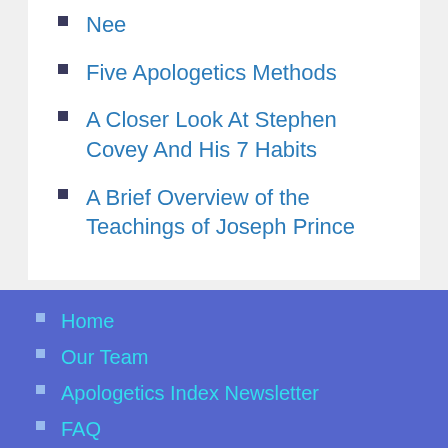Nee
Five Apologetics Methods
A Closer Look At Stephen Covey And His 7 Habits
A Brief Overview of the Teachings of Joseph Prince
Home
Our Team
Apologetics Index Newsletter
FAQ
Support AI
Suggest Link / Report Broken Link
Copyright/Linking Policy